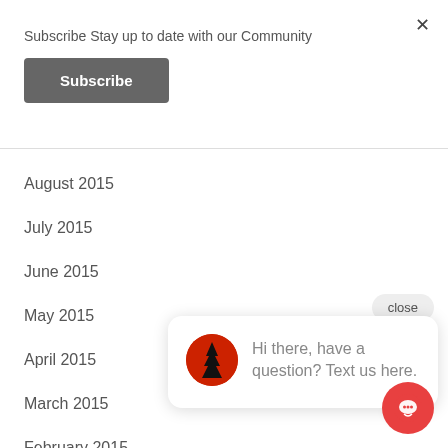× (close button)
Subscribe Stay up to date with our Community
Subscribe
August 2015
July 2015
June 2015
May 2015
April 2015
March 2015
February 2015
January 2015
December 2014
[Figure (screenshot): Chat widget popup with Red Woods Fitness logo and message: Hi there, have a question? Text us here.]
close
Hi there, have a question? Text us here.